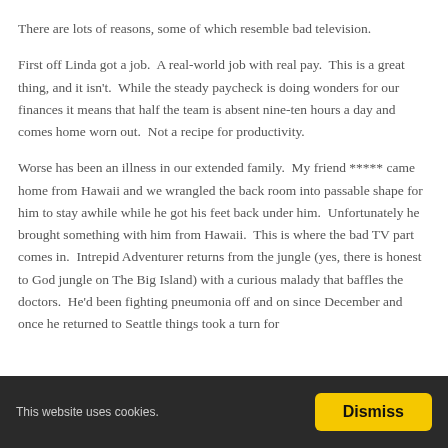There are lots of reasons, some of which resemble bad television.
First off Linda got a job.  A real-world job with real pay.  This is a great thing, and it isn't.  While the steady paycheck is doing wonders for our finances it means that half the team is absent nine-ten hours a day and comes home worn out.  Not a recipe for productivity.
Worse has been an illness in our extended family.  My friend ***** came home from Hawaii and we wrangled the back room into passable shape for him to stay awhile while he got his feet back under him.  Unfortunately he brought something with him from Hawaii.  This is where the bad TV part comes in.  Intrepid Adventurer returns from the jungle (yes, there is honest to God jungle on The Big Island) with a curious malady that baffles the doctors.  He'd been fighting pneumonia off and on since December and once he returned to Seattle things took a turn for
This website uses cookies.